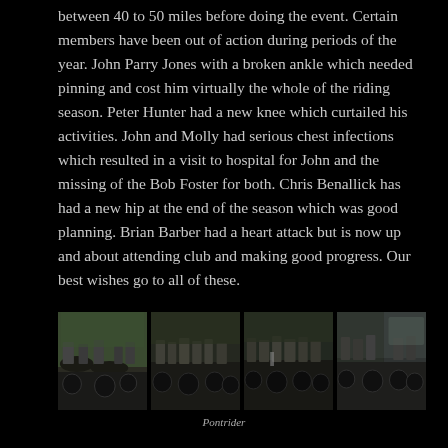between 40 to 50 miles before doing the event. Certain members have been out of action during periods of the year. John Parry Jones with a broken ankle which needed pinning and cost him virtually the whole of the riding season. Peter Hunter had a new knee which curtailed his activities. John and Molly had serious chest infections which resulted in a visit to hospital for John and the missing of the Bob Foster for both. Chris Benallick has had a new hip at the end of the season which was good planning. Brian Barber had a heart attack but is now up and about attending club and making good progress. Our best wishes go to all of these.
[Figure (photo): Four photographs in a row showing groups of motorcyclists with vintage/classic motorcycles gathered outdoors]
Pontrider